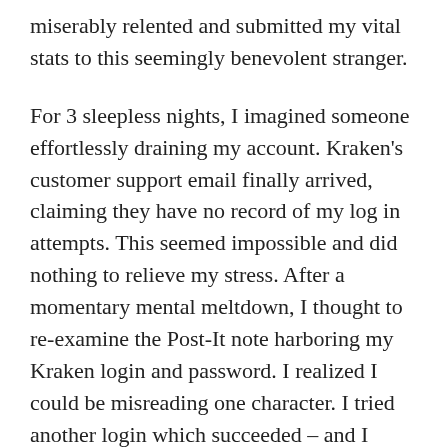miserably relented and submitted my vital stats to this seemingly benevolent stranger.
For 3 sleepless nights, I imagined someone effortlessly draining my account. Kraken's customer support email finally arrived, claiming they have no record of my log in attempts. This seemed impossible and did nothing to relieve my stress. After a momentary mental meltdown, I thought to re-examine the Post-It note harboring my Kraken login and password. I realized I could be misreading one character. I tried another login which succeeded – and I confirmed my portfolio remained as I left it several weeks ago.
Seriously, what IS stopping unscrupulous online pirates from posting fake Customer Support links on a community sites to spoof support emails until they have the info to access your account and steal your